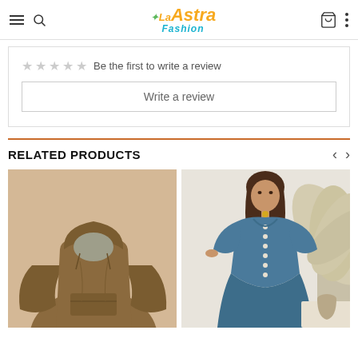La Astra Fashion
Be the first to write a review
Write a review
RELATED PRODUCTS
[Figure (photo): Brown hoodie/sweatshirt with front pocket and hood]
[Figure (photo): Woman wearing a blue button-front midi dress with short sleeves, standing near a decorative plant]